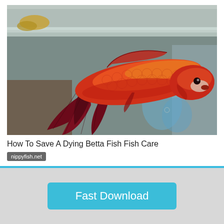[Figure (photo): A red and orange betta fish with dark crimson tail fins swimming near the surface of water in a glass tank. The fish is viewed from the side, facing right, with its flowing tail fins drooping below. The background shows the glass tank walls and some items on a surface behind the tank.]
How To Save A Dying Betta Fish Fish Care
nippyfish.net
Fast Download